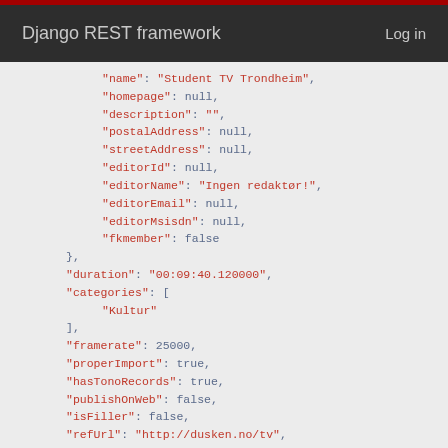Django REST framework   Log in
"name": "Student TV Trondheim",
"homepage": null,
"description": "",
"postalAddress": null,
"streetAddress": null,
"editorId": null,
"editorName": "Ingen redaktør!",
"editorEmail": null,
"editorMsisdn": null,
"fkmember": false
},
"duration": "00:09:40.120000",
"categories": [
"Kultur"
],
"framerate": 25000,
"properImport": true,
"hasTonoRecords": true,
"publishOnWeb": false,
"isFiller": false,
"refUrl": "http://dusken.no/tv",
"createdTime": "2013-02-15T09:43:53Z",
"updatedTime": "2018-11-10T18:29:27.599040Z"